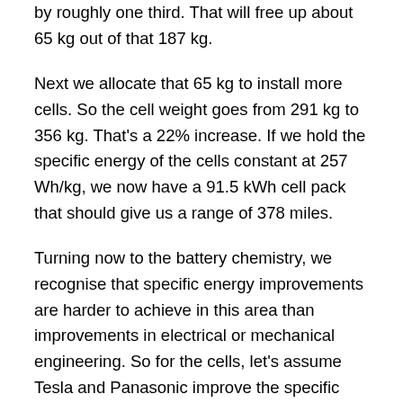by roughly one third. That will free up about 65 kg out of that 187 kg.
Next we allocate that 65 kg to install more cells. So the cell weight goes from 291 kg to 356 kg. That's a 22% increase. If we hold the specific energy of the cells constant at 257 Wh/kg, we now have a 91.5 kWh cell pack that should give us a range of 378 miles.
Turning now to the battery chemistry, we recognise that specific energy improvements are harder to achieve in this area than improvements in electrical or mechanical engineering. So for the cells, let's assume Tesla and Panasonic improve the specific energy by 6% per annum for the next 3 years. That will result in specific energy going from 257 Wh/kg to 306 Wh/kg, an improvement of 19%. With our 19% improvement, the battery now goes